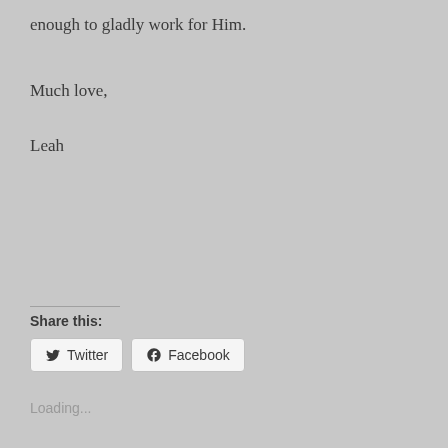enough to gladly work for Him.
Much love,
Leah
Share this:
[Figure (other): Twitter and Facebook share buttons with icons]
Loading...